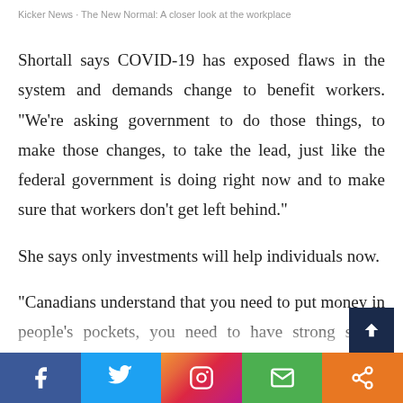Kicker News · The New Normal: A closer look at the workplace
Shortall says COVID-19 has exposed flaws in the system and demands change to benefit workers. “We’re asking government to do those things, to make those changes, to take the lead, just like the federal government is doing right now and to make sure that workers don’t get left behind.”
She says only investments will help individuals now.
“Canadians understand that you need to put money in people’s pockets, you need to have strong social programs, you need to have good public infrastructure programs to encourage people to live here and work here and spend their money here a…